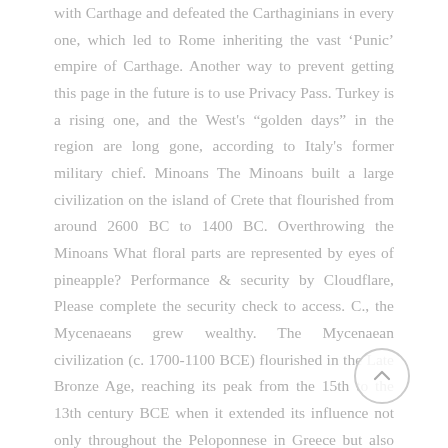with Carthage and defeated the Carthaginians in every one, which led to Rome inheriting the vast 'Punic' empire of Carthage. Another way to prevent getting this page in the future is to use Privacy Pass. Turkey is a rising one, and the West's "golden days" in the region are long gone, according to Italy's former military chief. Minoans The Minoans built a large civilization on the island of Crete that flourished from around 2600 BC to 1400 BC. Overthrowing the Minoans What floral parts are represented by eyes of pineapple? Performance & security by Cloudflare, Please complete the security check to access. C., the Mycenaeans grew wealthy. The Mycenaean civilization (c. 1700-1100 BCE) flourished in the Late Bronze Age, reaching its peak from the 15th to the 13th century BCE when it extended its influence not only throughout the Peloponnese in Greece but also across the Aegean.